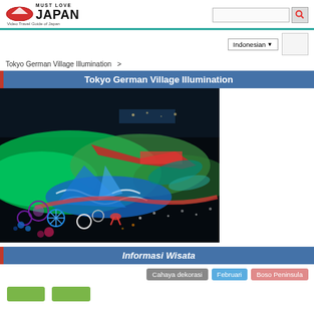[Figure (logo): Must Love Japan logo with red ellipse/mountain icon and tagline 'Video Travel Guide of Japan']
Must Love Japan — Video Travel Guide of Japan
Indonesian ▼
Tokyo German Village Illumination >
Tokyo German Village Illumination
[Figure (photo): Aerial night photo of Tokyo German Village illumination showing colorful LED light displays — green, blue, red, purple flower and wave patterns against a dark background]
Informasi Wisata
Cahaya dekorasi  Februari  Boso Peninsula
buttons row at bottom